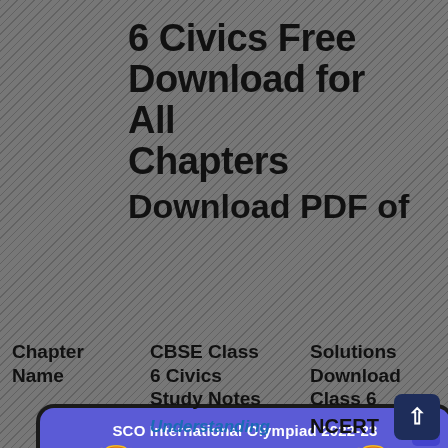6 Civics Free Download for All Chapters
Download PDF of
[Figure (screenshot): SCO International Olympiad 2022-23 promotional modal popup with blue background, trophy icons, register now click here text, subject icons row, and a white close button section at the bottom.]
| Chapter Name | CBSE Class 6 Civics Study Notes | Solutions Download Class 6 |
| --- | --- | --- |
|  |  |  |
|  | Understanding | NCERT |